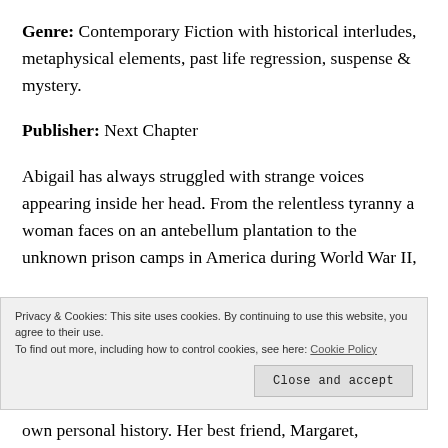Genre: Contemporary Fiction with historical interludes, metaphysical elements, past life regression, suspense & mystery.
Publisher: Next Chapter
Abigail has always struggled with strange voices appearing inside her head. From the relentless tyranny a woman faces on an antebellum plantation to the unknown prison camps in America during World War II, our heroine discovers the past in a way that forever...
Privacy & Cookies: This site uses cookies. By continuing to use this website, you agree to their use.
To find out more, including how to control cookies, see here: Cookie Policy
own personal history. Her best friend, Margaret,